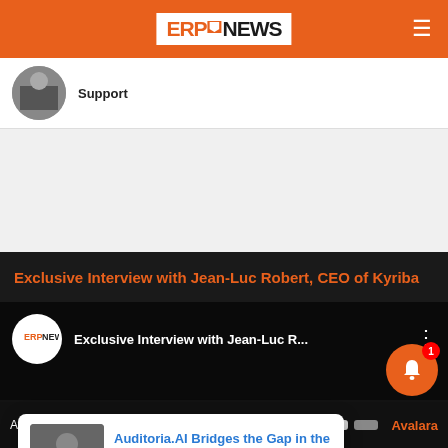ERP NEWS
Support
Exclusive Interview with Jean-Luc Robert, CEO of Kyriba
[Figure (screenshot): YouTube embed showing 'Exclusive Interview with Jean-Luc R...' with ERPNews logo]
We anonymously measure your use of this web X te to improve your best experience on
Auditoria.AI Bridges the Gap in the Finance Office
2 days ago
Avalara can help